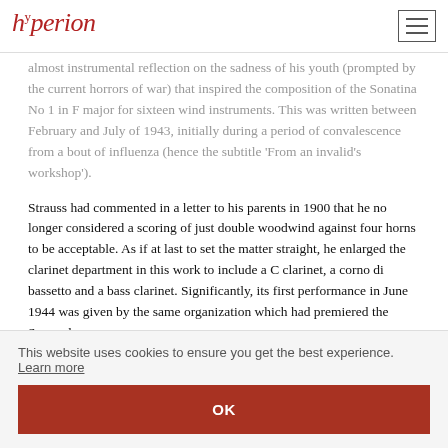hyperion
almost instrumental reflection on the sadness of his youth (prompted by the current horrors of war) that inspired the composition of the Sonatina No 1 in F major for sixteen wind instruments. This was written between February and July of 1943, initially during a period of convalescence from a bout of influenza (hence the subtitle 'From an invalid's workshop').
Strauss had commented in a letter to his parents in 1900 that he no longer considered a scoring of just double woodwind against four horns to be acceptable. As if at last to set the matter straight, he enlarged the clarinet department in this work to include a C clarinet, a corno di bassetto and a bass clarinet. Significantly, its first performance in June 1944 was given by the same organization which had premiered the Serenade
ed
en) is
once
d
This website uses cookies to ensure you get the best experience. Learn more
OK
ctory
passage—a distinctive piece of chromaticism which gains